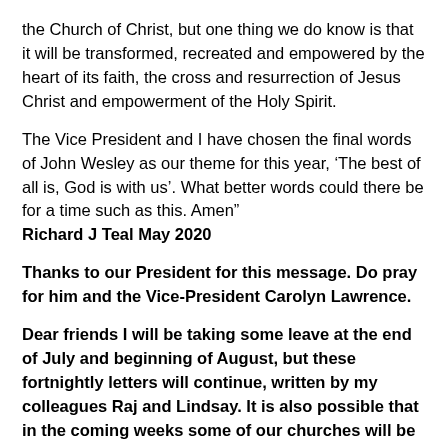the Church of Christ, but one thing we do know is that it will be transformed, recreated and empowered by the heart of its faith, the cross and resurrection of Jesus Christ and empowerment of the Holy Spirit.
The Vice President and I have chosen the final words of John Wesley as our theme for this year, ‘The best of all is, God is with us’. What better words could there be for a time such as this. Amen"
Richard J Teal May 2020
Thanks to our President for this message. Do pray for him and the Vice-President Carolyn Lawrence.
Dear friends I will be taking some leave at the end of July and beginning of August, but these fortnightly letters will continue, written by my colleagues Raj and Lindsay. It is also possible that in the coming weeks some of our churches will be re-opening, either for silent prayer or for small and simple acts of worship. This is something to celebrate, but we are not rushing